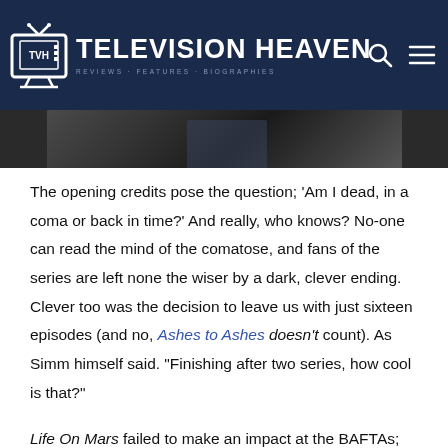TELEVISION HEAVEN
[Figure (photo): Partial view of a dark-toned photograph showing a person, cropped at the top of the page below the header]
The opening credits pose the question; 'Am I dead, in a coma or back in time?' And really, who knows? No-one can read the mind of the comatose, and fans of the series are left none the wiser by a dark, clever ending. Clever too was the decision to leave us with just sixteen episodes (and no, Ashes to Ashes doesn't count). As Simm himself said. "Finishing after two series, how cool is that?"
Life On Mars failed to make an impact at the BAFTAs; its popularity possibly grating with the purist judges, but it